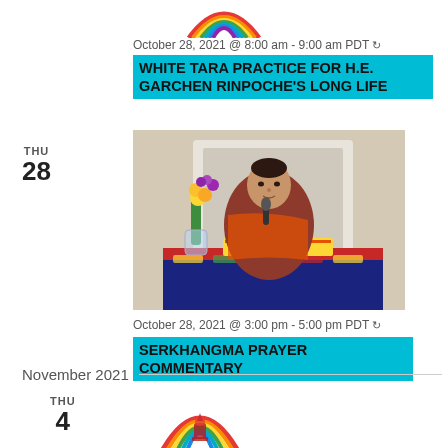[Figure (logo): Partial rainbow logo at top center]
October 28, 2021 @ 8:00 am - 9:00 am PDT ↻
WHITE TARA PRACTICE FOR H.E. GARCHEN RINPOCHE'S LONG LIFE
THU
28
[Figure (photo): A Buddhist monk in red robes seated at a table with flowers and ritual objects, speaking into a microphone]
October 28, 2021 @ 3:00 pm - 5:00 pm PDT ↻
SERKHANGMA PRAYER COMMENTARY
November 2021
THU
4
[Figure (logo): Partial rainbow logo with Buddhist imagery at bottom]